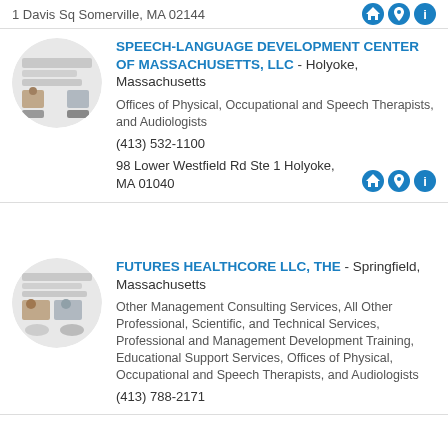1 Davis Sq Somerville, MA 02144
[Figure (other): Circular logo thumbnail for Speech-Language Development Center of Massachusetts]
SPEECH-LANGUAGE DEVELOPMENT CENTER OF MASSACHUSETTS, LLC - Holyoke, Massachusetts
Offices of Physical, Occupational and Speech Therapists, and Audiologists
(413) 532-1100
98 Lower Westfield Rd Ste 1 Holyoke, MA 01040
[Figure (other): Circular logo thumbnail for Futures Healthcore LLC]
FUTURES HEALTHCORE LLC, THE - Springfield, Massachusetts
Other Management Consulting Services, All Other Professional, Scientific, and Technical Services, Professional and Management Development Training, Educational Support Services, Offices of Physical, Occupational and Speech Therapists, and Audiologists
(413) 788-2171